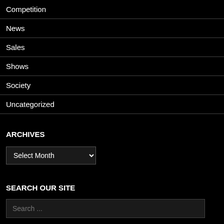Competition
News
Sales
Shows
Society
Uncategorized
ARCHIVES
Select Month (dropdown)
SEARCH OUR SITE
Search ...